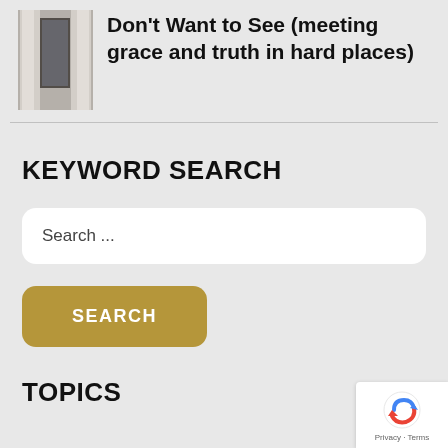[Figure (photo): Thumbnail image of a window with curtains, representing a book cover]
Don't Want to See (meeting grace and truth in hard places)
KEYWORD SEARCH
Search ...
SEARCH
TOPICS
[Figure (other): reCAPTCHA badge with Privacy and Terms links]